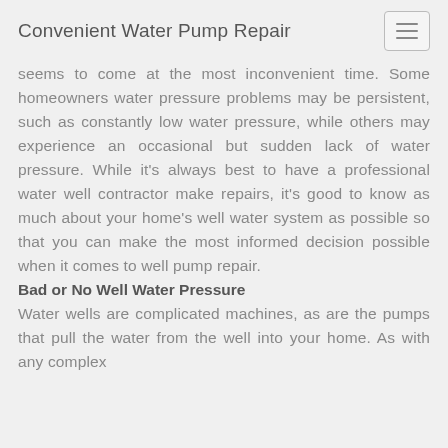Convenient Water Pump Repair
seems to come at the most inconvenient time. Some homeowners water pressure problems may be persistent, such as constantly low water pressure, while others may experience an occasional but sudden lack of water pressure. While it's always best to have a professional water well contractor make repairs, it's good to know as much about your home's well water system as possible so that you can make the most informed decision possible when it comes to well pump repair.
Bad or No Well Water Pressure
Water wells are complicated machines, as are the pumps that pull the water from the well into your home. As with any complex